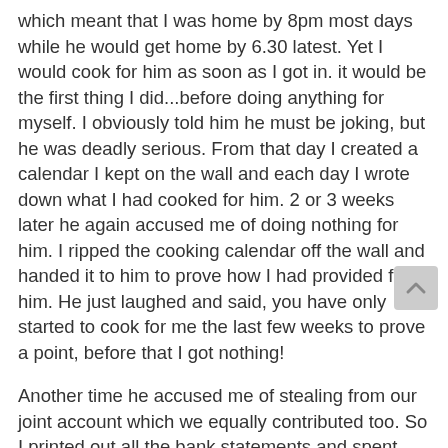which meant that I was home by 8pm most days while he would get home by 6.30 latest. Yet I would cook for him as soon as I got in. it would be the first thing I did...before doing anything for myself. I obviously told him he must be joking, but he was deadly serious. From that day I created a calendar I kept on the wall and each day I wrote down what I had cooked for him. 2 or 3 weeks later he again accused me of doing nothing for him. I ripped the cooking calendar off the wall and handed it to him to prove how I had provided for him. He just laughed and said, you have only started to cook for me the last few weeks to prove a point, before that I got nothing!
Another time he accused me of stealing from our joint account which we equally contributed too. So I printed out all the bank statements and spent hours colour co-ordinating them to prove I hadnt. He refused to look at them, he just picked them up and ripped them up in front of me saying he refused to spend time dwelling on anymore of my lies!